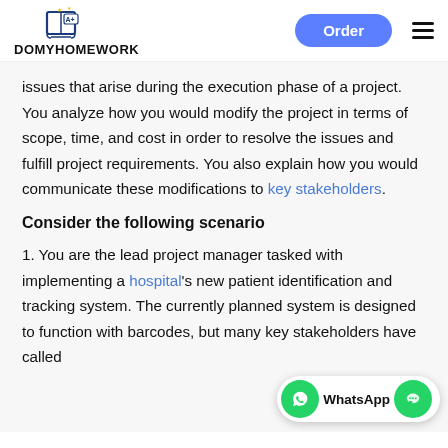DOMYHOMEWORK | Order
issues that arise during the execution phase of a project. You analyze how you would modify the project in terms of scope, time, and cost in order to resolve the issues and fulfill project requirements. You also explain how you would communicate these modifications to key stakeholders.
Consider the following scenario
1. You are the lead project manager tasked with implementing a hospital's new patient identification and tracking system. The currently planned system is designed to function with barcodes, but many key stakeholders have called